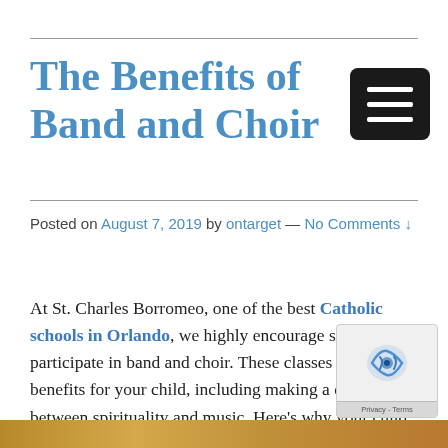The Benefits of Band and Choir
Posted on August 7, 2019 by ontarget — No Comments ↓
At St. Charles Borromeo, one of the best Catholic schools in Orlando, we highly encourage students to participate in band and choir. These classes have many benefits for your child, including making a connecting between spirituality and music. Here's why your child should join the school's band or choir!
[Figure (other): reCAPTCHA widget with Privacy - Terms label at bottom right corner of page]
[Figure (photo): Bottom strip showing partial photo of students in band or choir]